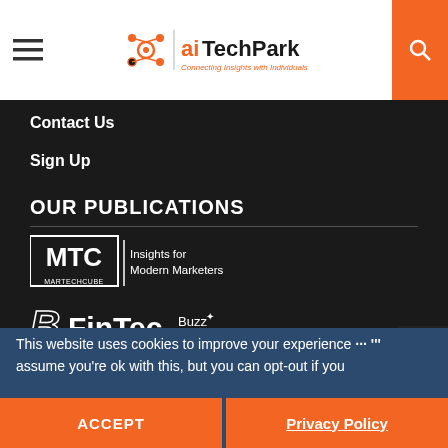aiTechPark - Connecting Insights with Individuals
Contact Us
Sign Up
OUR PUBLICATIONS
[Figure (logo): MTC Martechcube logo - Insights for Modern Marketers]
[Figure (logo): FinTec Buzz logo]
[Figure (logo): HTC HRTechCube logo - People. Resource. Technology.]
This website uses cookies to improve your experience ··· ''' assume you're ok with this, but you can opt-out if you
ACCEPT | Privacy Policy